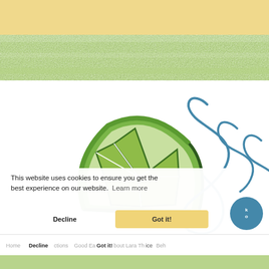[Figure (screenshot): Website screenshot showing a cookie consent banner overlay on a food/recipe website. The page has a tan/yellow top banner, a green textured header bar, a white content area with a lime slice logo illustration and cursive script text partially visible, and a cookie notification popup reading 'This website uses cookies to ensure you get the best experience on our website. Learn more' with 'Decline' and 'Got it!' buttons. A partial navigation bar is visible at the bottom with links including Home, Good Ea[ts], About Lara Thi[s], ice, Beh[avior].]